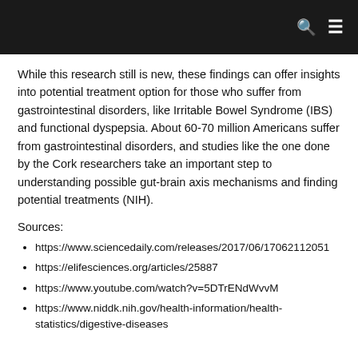While this research still is new, these findings can offer insights into potential treatment option for those who suffer from gastrointestinal disorders, like Irritable Bowel Syndrome (IBS) and functional dyspepsia. About 60-70 million Americans suffer from gastrointestinal disorders, and studies like the one done by the Cork researchers take an important step to understanding possible gut-brain axis mechanisms and finding potential treatments (NIH).
Sources:
https://www.sciencedaily.com/releases/2017/06/170621120517
https://elifesciences.org/articles/25887
https://www.youtube.com/watch?v=5DTrENdWvvM
https://www.niddk.nih.gov/health-information/health-statistics/digestive-diseases